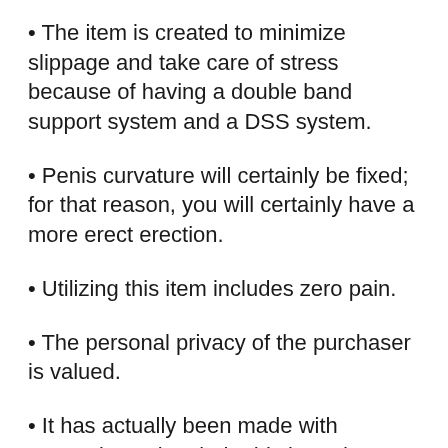• The item is created to minimize slippage and take care of stress because of having a double band support system and a DSS system.
• Penis curvature will certainly be fixed; for that reason, you will certainly have a more erect erection.
• Utilizing this item includes zero pain.
• The personal privacy of the purchaser is valued.
• It has actually been made with convenience in mind. This item does not have any sharp sides.